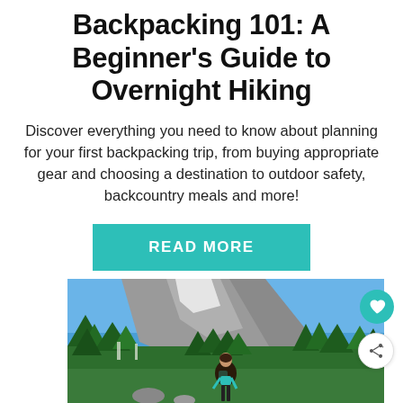Backpacking 101: A Beginner's Guide to Overnight Hiking
Discover everything you need to know about planning for your first backpacking trip, from buying appropriate gear and choosing a destination to outdoor safety, backcountry meals and more!
READ MORE
[Figure (photo): A person standing in front of a mountain landscape with green trees and blue sky, viewed from behind.]